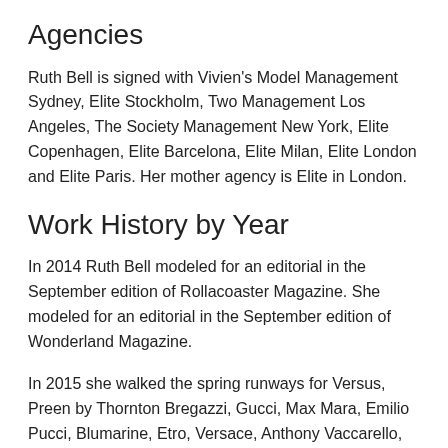Agencies
Ruth Bell is signed with Vivien's Model Management Sydney, Elite Stockholm, Two Management Los Angeles, The Society Management New York, Elite Copenhagen, Elite Barcelona, Elite Milan, Elite London and Elite Paris. Her mother agency is Elite in London.
Work History by Year
In 2014 Ruth Bell modeled for an editorial in the September edition of Rollacoaster Magazine. She modeled for an editorial in the September edition of Wonderland Magazine.
In 2015 she walked the spring runways for Versus, Preen by Thornton Bregazzi, Gucci, Max Mara, Emilio Pucci, Blumarine, Etro, Versace, Anthony Vaccarello, Lanvin, Isabel Marant, Acne Studios, Kenzo, Yves Saint Laurent and Iris van Herpen. She modeled for an editorial in the